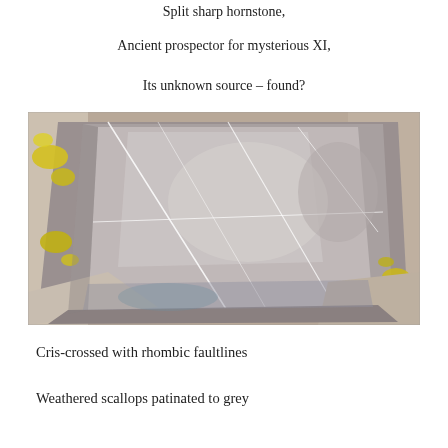Split sharp hornstone,
Ancient prospector for mysterious XI,
Its unknown source – found?
[Figure (photo): Close-up photograph of a split piece of grey hornstone/flint with white rhombic faultlines crossing the surface. Yellow-green lichen patches are visible on surrounding rocks. The stone has a smooth grey interior with a pearlescent sheen and weathered exterior.]
Cris-crossed with rhombic faultlines
Weathered scallops patinated to grey